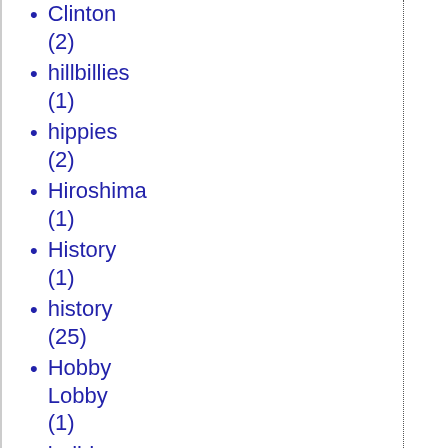Clinton (2)
hillbillies (1)
hippies (2)
Hiroshima (1)
History (1)
history (25)
Hobby Lobby (1)
holidays (17)
Hollywood (1)
holy days (2)
Holy Sepulcher (1)